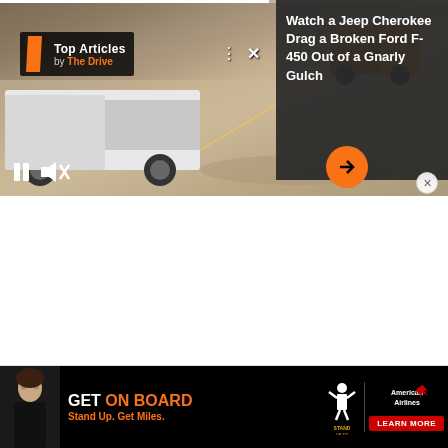[Figure (screenshot): Video player showing a white truck being towed out of a rocky gulch, with a Top Articles badge overlay from The Drive, dark overlay panel with article title, video playback controls (pause, mute), and an orange arrow button]
Watch a Jeep Cherokee Drag a Broken Ford F-450 Out of a Gnarly Gulch
[Figure (screenshot): Advertisement banner for American Airlines AAdvantage program with Stand Up To Cancer partnership. Features a woman in a black t-shirt, text reading GET ON BOARD / Stand Up. Get Miles., Stand Up To Cancer logo, American Airlines logo, and LEARN MORE button]